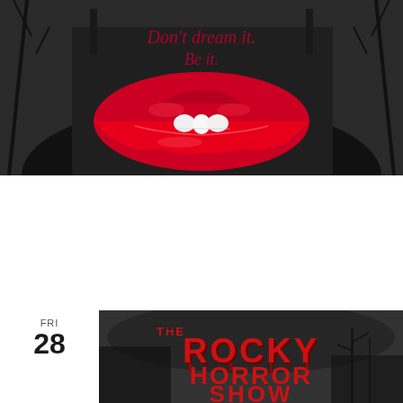[Figure (photo): Rocky Horror Show promotional image with large red lips and text 'Don't dream it. Be it.' on dark background]
October 23 @ 1:00 pm - 3:00 pm
Rocky Horror Show
Masonic - Red Room 128 W Washington St, Marquette, MI
Get Tickets $15.00 – $25.00
FRI 28
[Figure (photo): The Rocky Horror Show logo in red dripping horror font on dark atmospheric background]